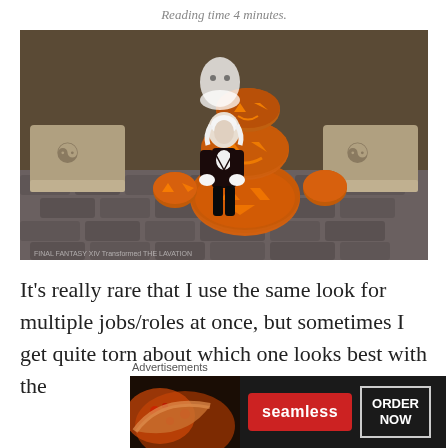Reading time 4 minutes.
[Figure (photo): A video game screenshot (Final Fantasy XIV style) showing a character with white hair and pointed ears dressed in dark Halloween-themed clothing, standing in front of a large stack of Jack-o-lantern pumpkins on a cobblestone area. Ghost decoration visible above the pumpkins, decorative planters on the sides.]
It’s really rare that I use the same look for multiple jobs/roles at once, but sometimes I get quite torn about which one looks best with the
Advertisements
[Figure (infographic): Seamless food delivery advertisement banner showing pizza slices on the left, a red Seamless logo button in the center, and an 'ORDER NOW' button with white border on the right, all on a dark background.]